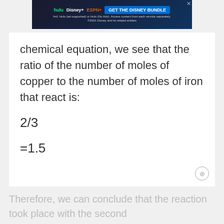[Figure (screenshot): Hulu Disney+ ESPN+ advertisement banner with 'GET THE DISNEY BUNDLE' button and subscription details text]
chemical equation, we see that the ratio of the number of moles of copper to the number of moles of iron that react is:
Therefore, we can conclude that the reaction took place with the second